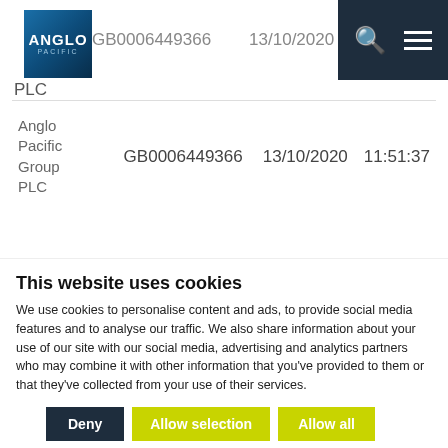[Figure (logo): Anglo Pacific Group PLC logo — blue gradient square with white text ANGLO and lighter PACIFIC below]
GB0006449366   13/10/2020
PLC
| Anglo Pacific Group PLC | GB0006449366 | 13/10/2020 | 11:51:37 |
This website uses cookies
We use cookies to personalise content and ads, to provide social media features and to analyse our traffic. We also share information about your use of our site with our social media, advertising and analytics partners who may combine it with other information that you've provided to them or that they've collected from your use of their services.
Deny | Allow selection | Allow all
Necessary  Preferences  Statistics  Marketing  Show details